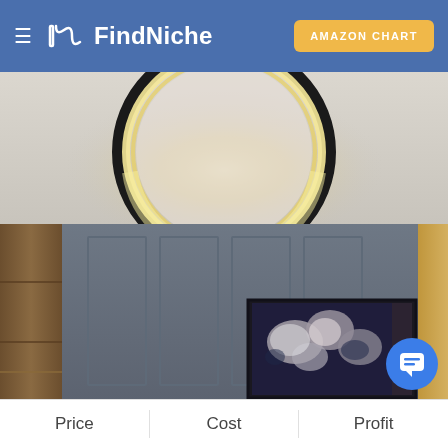FindNiche — AMAZON CHART
[Figure (photo): Product listing photo showing a circular LED ceiling light fixture mounted on a white ceiling, illuminating with warm golden light. Below is a living room interior with grey paneled walls, a dark wooden cabinet on the left, a light wooden panel on the right, and a framed floral artwork/TV on the lower right portion of the wall.]
Price
Cost
Profit